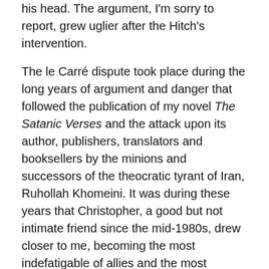his head. The argument, I'm sorry to report, grew uglier after the Hitch's intervention.
The le Carré dispute took place during the long years of argument and danger that followed the publication of my novel The Satanic Verses and the attack upon its author, publishers, translators and booksellers by the minions and successors of the theocratic tyrant of Iran, Ruhollah Khomeini. It was during these years that Christopher, a good but not intimate friend since the mid-1980s, drew closer to me, becoming the most indefatigable of allies and the most eloquent of defenders.
I have often been asked if Christopher defended me because he was my close friend. The truth is that he became my close friend because he wanted to defend me.
The spectacle of a despotic cleric with antiquated ideas